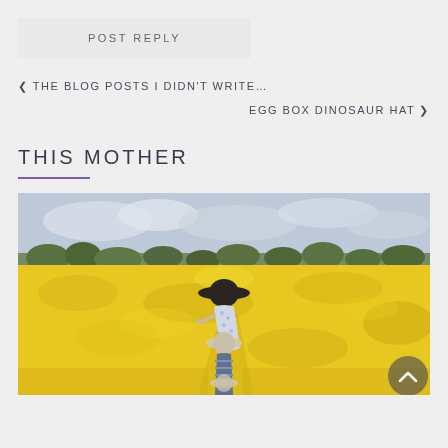POST REPLY
◀ THE BLOG POSTS I DIDN'T WRITE...
EGG BOX DINOSAUR HAT ▶
THIS MOTHER
[Figure (photo): Woman in floral dress and wide-brim hat with two children walking through a bright yellow rapeseed/canola field under a cloudy sky, viewed from behind]